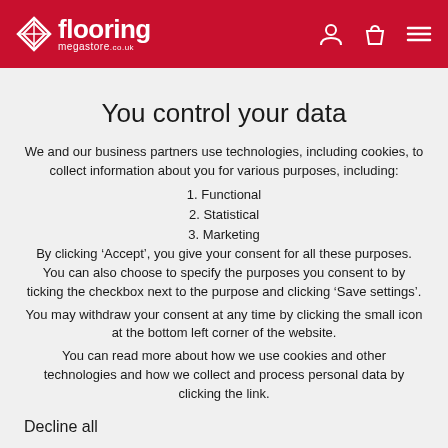[Figure (logo): Flooring Megastore logo with red background, white diamond/cross icon and white text 'flooring megastore.co.uk', plus account, bag, and menu icons on the right]
You control your data
We and our business partners use technologies, including cookies, to collect information about you for various purposes, including:
1. Functional
2. Statistical
3. Marketing
By clicking ‘Accept’, you give your consent for all these purposes. You can also choose to specify the purposes you consent to by ticking the checkbox next to the purpose and clicking ‘Save settings’.
You may withdraw your consent at any time by clicking the small icon at the bottom left corner of the website.
You can read more about how we use cookies and other technologies and how we collect and process personal data by clicking the link.
Decline all